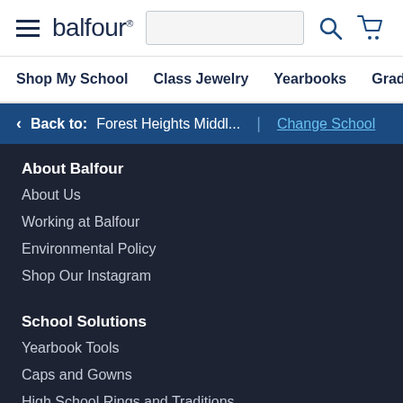balfour. | Shop My School | Class Jewelry | Yearbooks | Graduation | Sc
< Back to: Forest Heights Middl... | Change School
About Balfour
About Us
Working at Balfour
Environmental Policy
Shop Our Instagram
School Solutions
Yearbook Tools
Caps and Gowns
High School Rings and Traditions
College Rings and Traditions